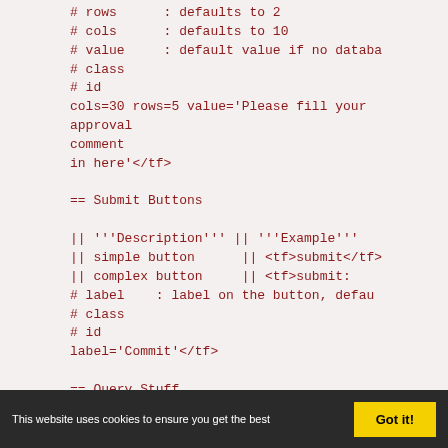# rows      : defaults to 2
# cols      : defaults to 10
# value     : default value if no databa
# class
# id
cols=30 rows=5 value='Please fill your
approval
comment
in here'</tf>

== Submit Buttons

|| '''Description''' || '''Example'''
|| simple button      || <tf>submit</tf>
|| complex button     || <tf>submit:
# label    : label on the button, defau
# class
# id
label='Commit'</tf>

== Query Stuff

<tf>
# to have a value which is always there
set:to_be_queried:magic_value</tf>

=== Without Formatting
This website uses cookies to ensure you get the best